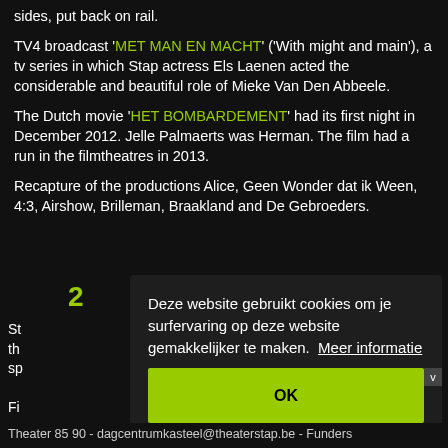sides, put back on rail.
TV4 broadcast 'MET MAN EN MACHT' ('With might and main'), a tv series in which Stap actress Els Laenen acted the considerable and beautiful role of Mieke Van Den Abbeele.
The Dutch movie 'HET BOMBARDEMENT' had its first night in December 2012. Jelle Palmaerts was Herman. The film had a run in the filmtheatres in 2013.
Recapture of the productions Alice, Geen Wonder dat ik Ween, 4:3, Airshow, Brilleman, Braakland and De Gebroeders.
2
Deze website gebruikt cookies om je surfervaring op deze website gemakkelijker te maken. Meer informatie
OK
Theater 85 90 - dagcentrumkasteel@theaterstap.be - Funders